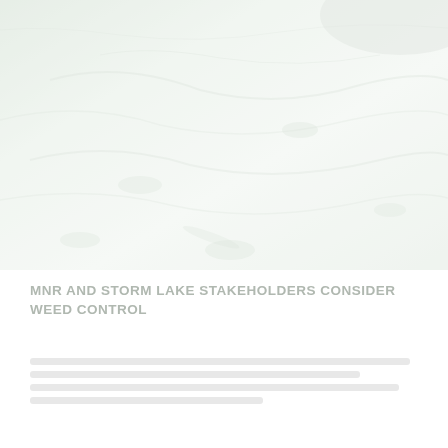[Figure (photo): Aerial photograph of Storm Lake showing aquatic weed growth visible from above. The image shows a light-colored water surface with subtle vegetation patterns visible, taken from a bird's eye view. The photo is washed out and very light in tone, showing the lake surface with aquatic vegetation.]
MNR AND STORM LAKE STAKEHOLDERS CONSIDER WEED CONTROL